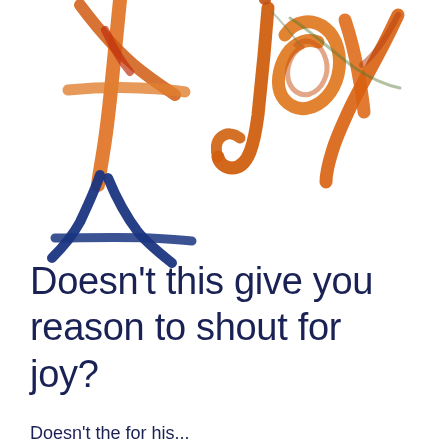[Figure (illustration): Colorful artistic illustration: on the left, abstract orange and red strokes forming a stylized figure/person shape with blue brushstroke legs; on the right, the word 'joy' written in flowing orange-red-yellow calligraphic script on a white background.]
Doesn't this give you reason to shout for joy?
Doesn't the for his...